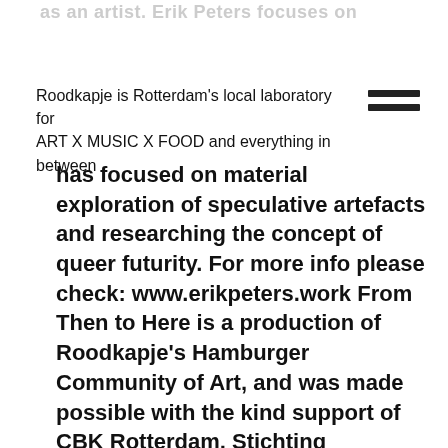as an artist. Erik Peters focuses on
Roodkapje is Rotterdam's local laboratory for ART X MUSIC X FOOD and everything in between
has focused on material exploration of speculative artefacts and researching the concept of queer futurity. For more info please check: www.erikpeters.work From Then to Here is a production of Roodkapje's Hamburger Community of Art, and was made possible with the kind support of CBK Rotterdam, Stichting Bevordering van Volkskracht, Stichting Ondernemersbelangen Rotterdam, Prins Bernhard Cultuurfonds, Fleur Groenendijk Foundation, Stichting